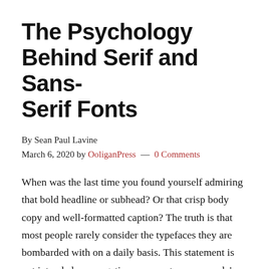The Psychology Behind Serif and Sans-Serif Fonts
By Sean Paul Lavine
March 6, 2020 by OoliganPress — 0 Comments
When was the last time you found yourself admiring that bold headline or subhead? Or that crisp body copy and well-formatted caption? The truth is that most people rarely consider the typefaces they are bombarded with on a daily basis. This statement is not intended as a negative commentary on people's reading habits